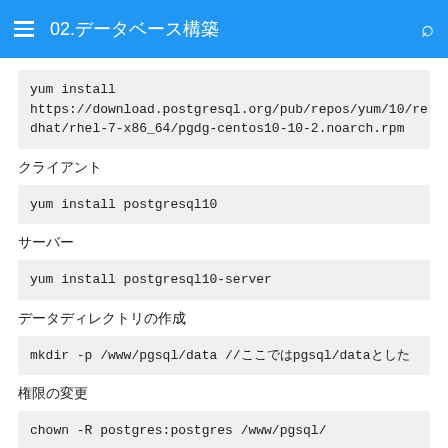02.データベース構築
yum install https://download.postgresql.org/pub/repos/yum/10/redhat/rhel-7-x86_64/pgdg-centos10-10-2.noarch.rpm
クライアント
yum install postgresql10
サーバー
yum install postgresql10-server
データディレクトリの作成
mkdir -p /www/pgsql/data //ここではpgsql/dataとした
権限の変更
chown -R postgres:postgres /www/pgsql/